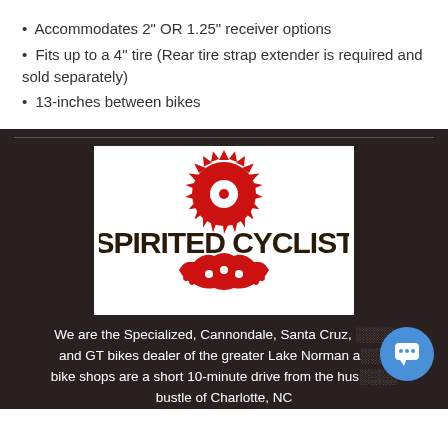Accommodates 2" OR 1.25" receiver options
Fits up to a 4" tire (Rear tire strap extender is required and sold separately)
13-inches between bikes
[Figure (logo): Spirited Cyclist Bike Shop logo — red gear/sprocket imagery with dark brown text reading SPIRITED CYCLIST on top and BIKE SHOP on bottom arc]
We are the Specialized, Cannondale, Santa Cruz, and GT bikes dealer of the greater Lake Norman a... bike shops are a short 10-minute drive from the hust... bustle of Charlotte, NC